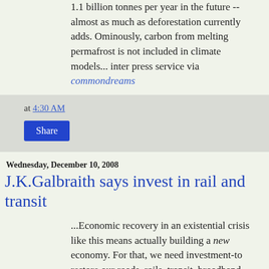1.1 billion tonnes per year in the future -- almost as much as deforestation currently adds. Ominously, carbon from melting permafrost is not included in climate models... inter press service via commondreams
at 4:30 AM
Share
Wednesday, December 10, 2008
J.K.Galbraith says invest in rail and transit
...Economic recovery in an existential crisis like this means actually building a new economy. For that, we need investment-to restore our roads, rails, transit, broadband, and water systems, to build parks and museums and libraries, to protect the environment. Right now, states and localities can't borrow for these things. Creating a National Infrastructure Fund, using